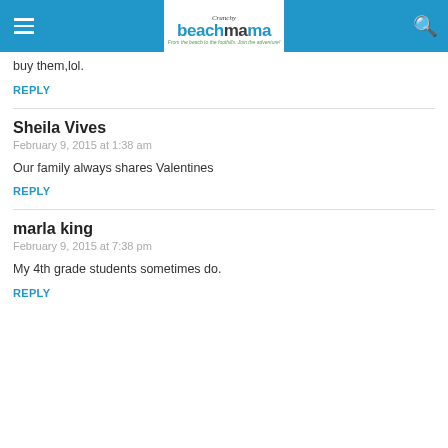Crunchy Beach Mama
buy them,lol.
REPLY
Sheila Vives
February 9, 2015 at 1:38 am
Our family always shares Valentines
REPLY
marla king
February 9, 2015 at 7:38 pm
My 4th grade students sometimes do.
REPLY